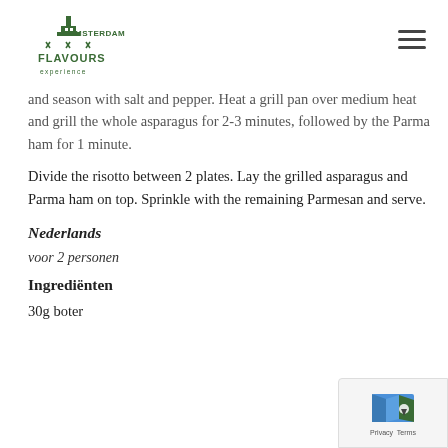Amsterdam Flavours Experience
and season with salt and pepper. Heat a grill pan over medium heat and grill the whole asparagus for 2-3 minutes, followed by the Parma ham for 1 minute.
Divide the risotto between 2 plates. Lay the grilled asparagus and Parma ham on top. Sprinkle with the remaining Parmesan and serve.
Nederlands
voor 2 personen
Ingrediënten
30g boter